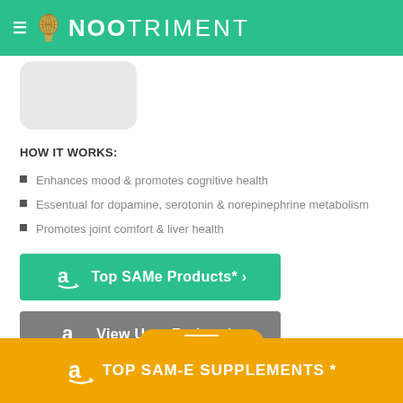[Figure (logo): Nootriment website logo with lightbulb icon on green header bar]
[Figure (photo): Gray rounded rectangle image placeholder]
HOW IT WORKS:
Enhances mood & promotes cognitive health
Essentual for dopamine, serotonin & norepinephrine metabolism
Promotes joint comfort & liver health
[Figure (other): Green button with Amazon icon: Top SAMe Products* ›]
[Figure (other): Gray button with Amazon icon: View User Ratings* ›]
*Affiliate Links
TOP SAM-E SUPPLEMENTS *